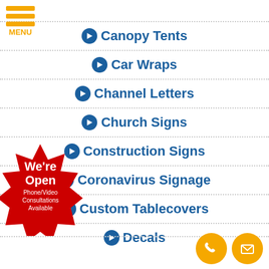[Figure (logo): Orange hamburger menu icon with three horizontal bars and MENU label]
Canopy Tents
Car Wraps
Channel Letters
Church Signs
Construction Signs
Coronavirus Signage
Custom Tablecovers
Decals
[Figure (illustration): Red starburst badge with text: We're Open Phone/Video Consultations Available]
[Figure (illustration): Orange circle phone icon and orange circle email/envelope icon]